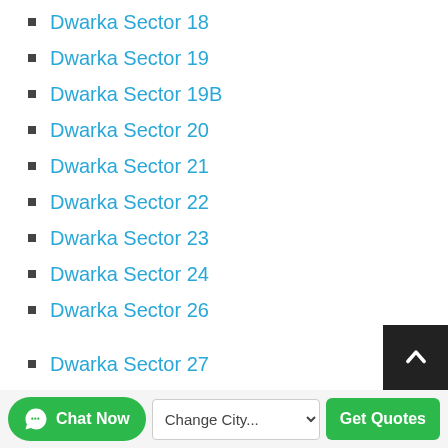Dwarka Sector 18
Dwarka Sector 19
Dwarka Sector 19B
Dwarka Sector 20
Dwarka Sector 21
Dwarka Sector 22
Dwarka Sector 23
Dwarka Sector 24
Dwarka Sector 26
Dwarka Sector 27
Dwarka Sector 28
East Of Kailash